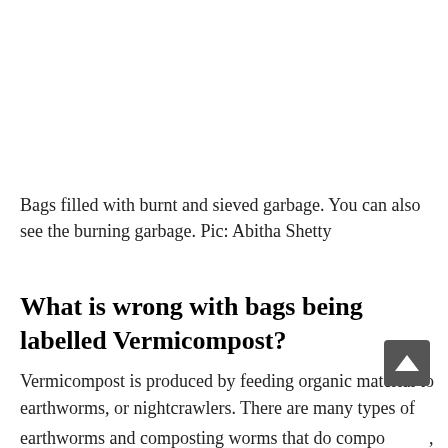Bags filled with burnt and sieved garbage. You can also see the burning garbage. Pic: Abitha Shetty
What is wrong with bags being labelled Vermicompost?
Vermicompost is produced by feeding organic material to earthworms, or nightcrawlers. There are many types of earthworms and composting worms that do compost, which are used for fertilising soil, and to produce compost